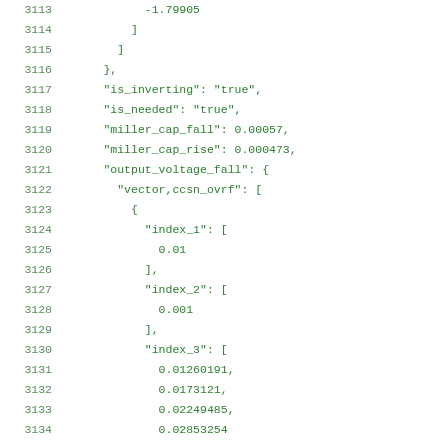Code listing lines 3113-3134 showing JSON data structure with fields: -1.79905, ], ], }, "is_inverting": "true", "is_needed": "true", "miller_cap_fall": 0.00057, "miller_cap_rise": 0.000473, "output_voltage_fall": { "vector,ccsn_ovrf": [ { "index_1": [ 0.01 ], "index_2": [ 0.001 ], "index_3": [ 0.01260191, 0.0173121, 0.02249485, 0.02853254